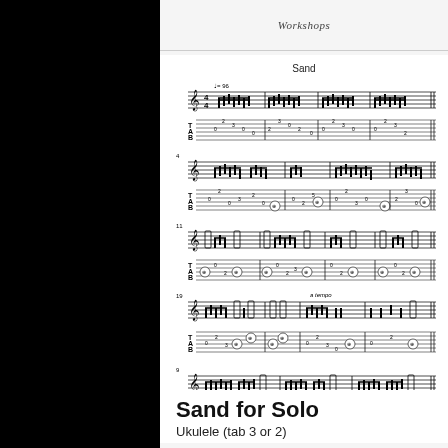Workshops
Sand
[Figure (illustration): Sheet music for 'Sand' for solo guitar — five systems of standard notation with tablature, tempo marking J=96, multiple measures of complex guitar notation.]
Sand for Solo
Ukulele (tab 3 or 2)